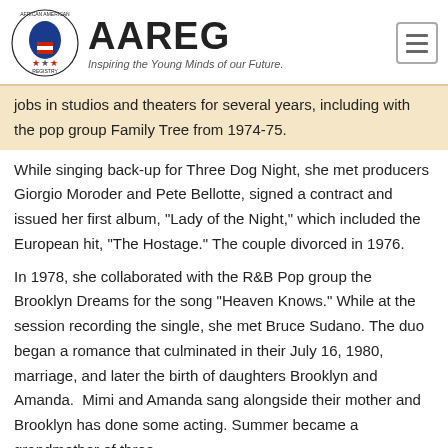AAREG — Inspiring the Young Minds of our Future.
jobs in studios and theaters for several years, including with the pop group Family Tree from 1974-75.
While singing back-up for Three Dog Night, she met producers Giorgio Moroder and Pete Bellotte, signed a contract and issued her first album, "Lady of the Night," which included the European hit, "The Hostage." The couple divorced in 1976.
In 1978, she collaborated with the R&B Pop group the Brooklyn Dreams for the song "Heaven Knows." While at the session recording the single, she met Bruce Sudano. The duo began a romance that culminated in their July 16, 1980, marriage, and later the birth of daughters Brooklyn and Amanda.  Mimi and Amanda sang alongside their mother and Brooklyn has done some acting. Summer became a grandmother of three.